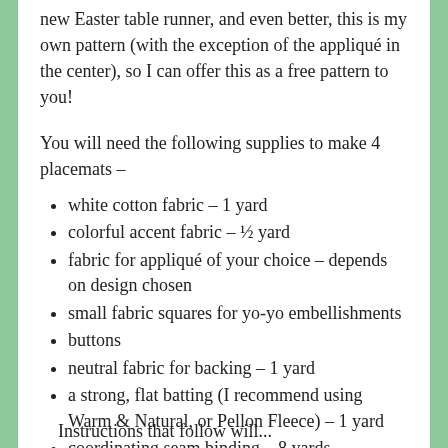new Easter table runner, and even better, this is my own pattern (with the exception of the appliqué in the center), so I can offer this as a free pattern to you!
You will need the following supplies to make 4 placemats –
white cotton fabric – 1 yard
colorful accent fabric – ½ yard
fabric for appliqué of your choice – depends on design chosen
small fabric squares for yo-yo embellishments
buttons
neutral fabric for backing – 1 yard
a strong, flat batting (I recommend using Warm & Natural, or Pellon Fleece) – 1 yard
coordinating seam binding – 8 yards
Instructions that follow will...